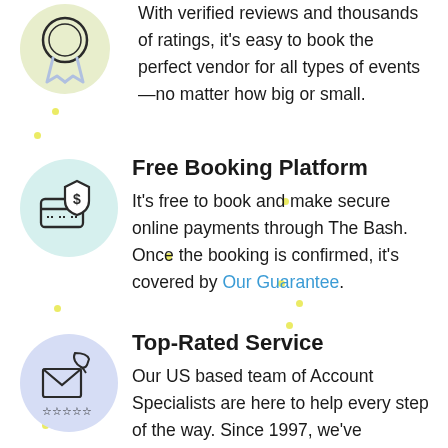[Figure (illustration): Yellow-green circle with ribbon/award medal icon (partial, top of page)]
With verified reviews and thousands of ratings, it's easy to book the perfect vendor for all types of events—no matter how big or small.
[Figure (illustration): Teal/mint circle with credit card and dollar shield icon]
Free Booking Platform
It's free to book and make secure online payments through The Bash. Once the booking is confirmed, it's covered by Our Guarantee.
[Figure (illustration): Light blue/lavender circle with envelope, phone handset, and stars rating icon]
Top-Rated Service
Our US based team of Account Specialists are here to help every step of the way. Since 1997, we've connected planners with vendors for